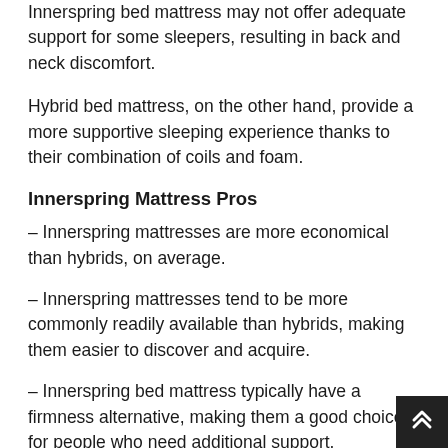Innerspring bed mattress may not offer adequate support for some sleepers, resulting in back and neck discomfort.
Hybrid bed mattress, on the other hand, provide a more supportive sleeping experience thanks to their combination of coils and foam.
Innerspring Mattress Pros
– Innerspring mattresses are more economical than hybrids, on average.
– Innerspring mattresses tend to be more commonly readily available than hybrids, making them easier to discover and acquire.
– Innerspring bed mattress typically have a firmness alternative, making them a good choice for people who need additional support.